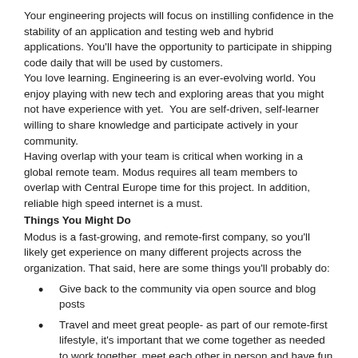Your engineering projects will focus on instilling confidence in the stability of an application and testing web and hybrid applications. You'll have the opportunity to participate in shipping code daily that will be used by customers.
You love learning. Engineering is an ever-evolving world. You enjoy playing with new tech and exploring areas that you might not have experience with yet. You are self-driven, self-learner willing to share knowledge and participate actively in your community.
Having overlap with your team is critical when working in a global remote team. Modus requires all team members to overlap with Central Europe time for this project. In addition, reliable high speed internet is a must.
Things You Might Do
Modus is a fast-growing, and remote-first company, so you'll likely get experience on many different projects across the organization. That said, here are some things you'll probably do:
Give back to the community via open source and blog posts
Travel and meet great people- as part of our remote-first lifestyle, it's important that we come together as needed to work together, meet each other in person and have fun together. Please keep that in mind when you apply.